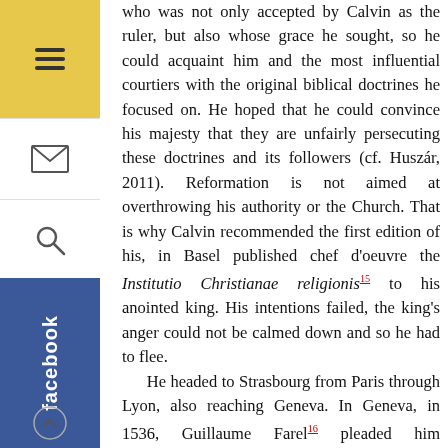who was not only accepted by Calvin as the ruler, but also whose grace he sought, so he could acquaint him and the most influential courtiers with the original biblical doctrines he focused on. He hoped that he could convince his majesty that they are unfairly persecuting these doctrines and its followers (cf. Huszár, 2011). Reformation is not aimed at overthrowing his authority or the Church. That is why Calvin recommended the first edition of his, in Basel published chef d'oeuvre the Institutio Christianae religionis[15] to his anointed king. His intentions failed, the king's anger could not be calmed down and so he had to flee.
He headed to Strasbourg from Paris through Lyon, also reaching Geneva. In Geneva, in 1536, Guillaume Farel[16] pleaded him intensively to stay and even threatened him with a curse, if he would deny the preaching of the true doctrines to citizens of Geneva and would not help organise the city's life in this spirit. Anteriorly in Geneva they successfully got rid of the Prince of Savoy's reign and expelled the bishop. Rich citizens took control of the city. The ownership of everything in the economy now belonged to them and of course the significant benefits that came from it. Without even knowing it, they created first capitalism with laboratory purity. In fact, these economic reasons